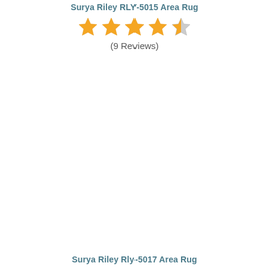Surya Riley RLY-5015 Area Rug
[Figure (other): Star rating display showing 4.5 out of 5 stars in orange]
(9 Reviews)
Surya Riley Rly-5017 Area Rug